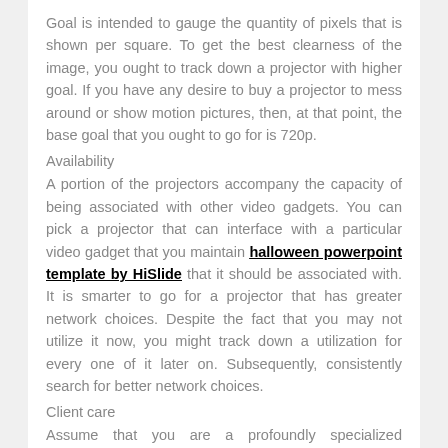Goal is intended to gauge the quantity of pixels that is shown per square. To get the best clearness of the image, you ought to track down a projector with higher goal. If you have any desire to buy a projector to mess around or show motion pictures, then, at that point, the base goal that you ought to go for is 720p.
Availability
A portion of the projectors accompany the capacity of being associated with other video gadgets. You can pick a projector that can interface with a particular video gadget that you maintain halloween powerpoint template by HiSlide that it should be associated with. It is smarter to go for a projector that has greater network choices. Despite the fact that you may not utilize it now, you might track down a utilization for every one of it later on. Subsequently, consistently search for better network choices.
Client care
Assume that you are a profoundly specialized individual and you...